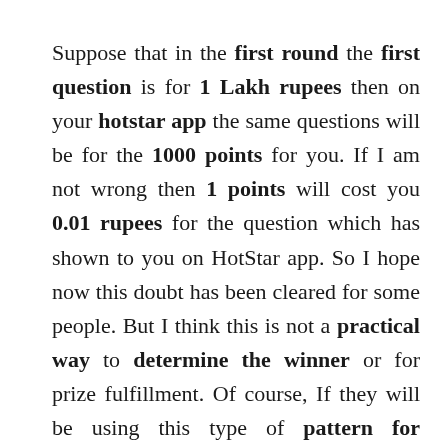Suppose that in the first round the first question is for 1 Lakh rupees then on your hotstar app the same questions will be for the 1000 points for you. If I am not wrong then 1 points will cost you 0.01 rupees for the question which has shown to you on HotStar app. So I hope now this doubt has been cleared for some people. But I think this is not a practical way to determine the winner or for prize fulfillment. Of course, If they will be using this type of pattern for converting points then why the hell they are bragging that a winner can win up to 15 Lakhs. Anyway, let see the below points table where they have given the points,